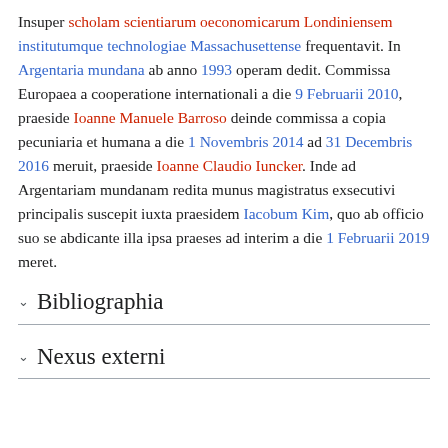Insuper scholam scientiarum oeconomicarum Londiniensem institutumque technologiae Massachusettense frequentavit. In Argentaria mundana ab anno 1993 operam dedit. Commissa Europaea a cooperatione internationali a die 9 Februarii 2010, praeside Ioanne Manuele Barroso deinde commissa a copia pecuniaria et humana a die 1 Novembris 2014 ad 31 Decembris 2016 meruit, praeside Ioanne Claudio Iuncker. Inde ad Argentariam mundanam redita munus magistratus exsecutivi principalis suscepit iuxta praesidem Iacobum Kim, quo ab officio suo se abdicante illa ipsa praeses ad interim a die 1 Februarii 2019 meret.
Bibliographia
Nexus externi